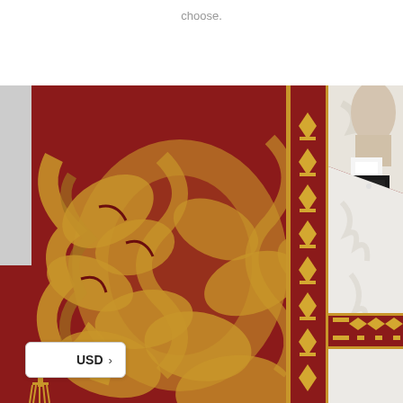choose.
[Figure (photo): Close-up photograph of a liturgical vestment (chasuble) with rich red and gold damask brocade fabric featuring ornate floral and scroll patterns, with a decorative orphrey band trimmed with gold and red ribbon. The vestment is displayed on a mannequin with a white alb and black clerical garment visible underneath. A gold tassel is visible at the lower left.]
USD >